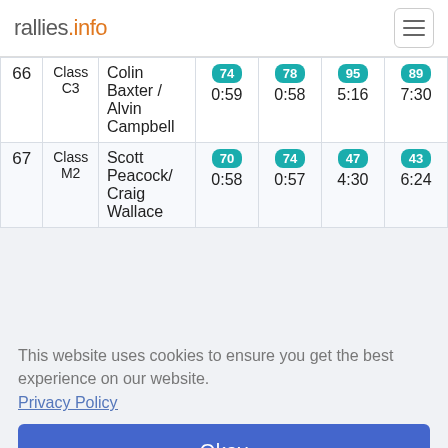rallies.info
| # | Class | Driver/Co-driver | SS1 | SS2 | SS3 | SS4 |
| --- | --- | --- | --- | --- | --- | --- |
| 66 | Class C3 | Colin Baxter / Alvin Campbell | 74
0:59 | 78
0:58 | 95
5:16 | 89
7:30 |
| 67 | Class M2 | Scott Peacock/ Craig Wallace | 70
0:58 | 74
0:57 | 47
4:30 | 43
6:24 |
This website uses cookies to ensure you get the best experience on our website.
Privacy Policy
Okay